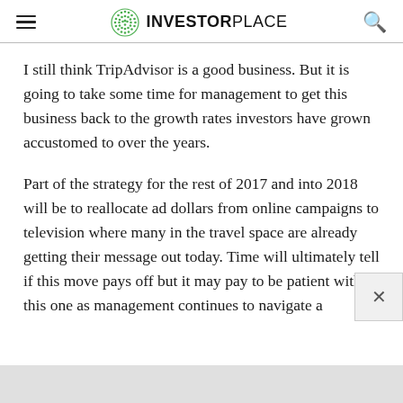INVESTORPLACE
I still think TripAdvisor is a good business. But it is going to take some time for management to get this business back to the growth rates investors have grown accustomed to over the years.
Part of the strategy for the rest of 2017 and into 2018 will be to reallocate ad dollars from online campaigns to television where many in the travel space are already getting their message out today. Time will ultimately tell if this move pays off but it may pay to be patient with this one as management continues to navigate a